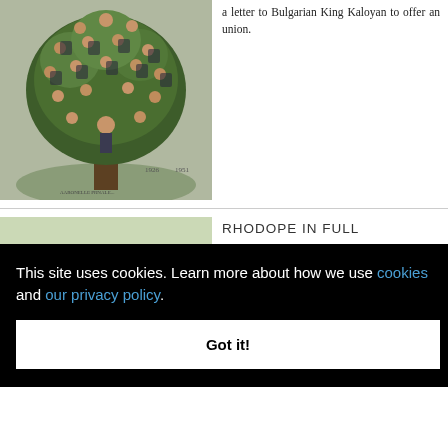[Figure (illustration): A painting of a tree with human faces/portraits embedded in the foliage, with dates 1926 and 1951 visible at the base, representing a family or genealogical tree artwork.]
a letter to Bulgarian King Kaloyan to offer an union.
[Figure (photo): A landscape photo showing lush green trees/forest, likely in the Rhodope mountain region.]
RHODOPE IN FULL
have an
e no
n
r.
This site uses cookies. Learn more about how we use cookies and our privacy policy.
Got it!